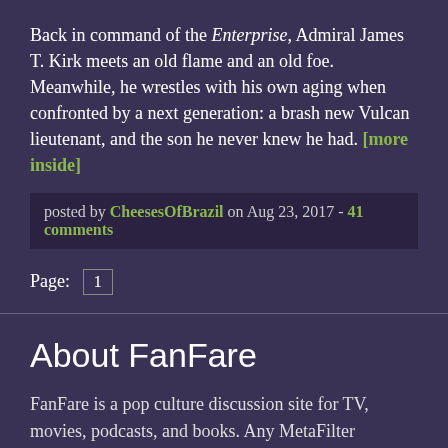Back in command of the Enterprise, Admiral James T. Kirk meets an old flame and an old foe. Meanwhile, he wrestles with his own aging when confronted by a next generation: a brash new Vulcan lieutenant, and the son he never knew he had. [more inside]
posted by CheesesOfBrazil on Aug 23, 2017 - 41 comments
Page: 1
About FanFare
FanFare is a pop culture discussion site for TV, movies, podcasts, and books. Any MetaFilter member can post a thread about a piece of media for other members to discuss.